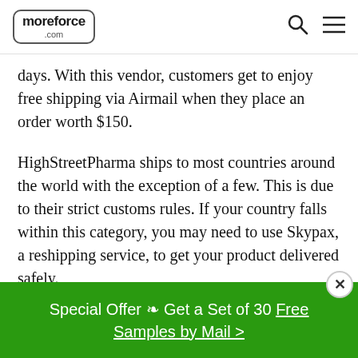moreforce.com
days. With this vendor, customers get to enjoy free shipping via Airmail when they place an order worth $150.
HighStreetPharma ships to most countries around the world with the exception of a few. This is due to their strict customs rules. If your country falls within this category, you may need to use Skypax, a reshipping service, to get your product delivered safely.
How Much Does Cialis Black Cost?
Special Offer ❧ Get a Set of 30 Free Samples by Mail >